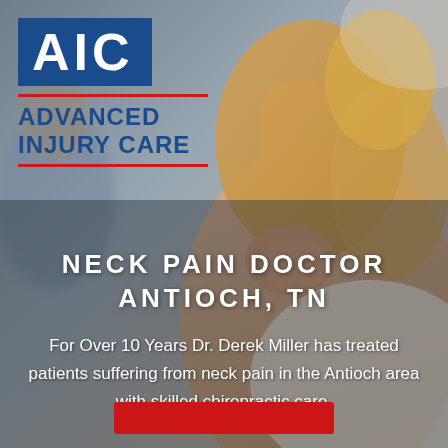[Figure (photo): Background photo of a woman touching her neck/shoulder area, blurred medical office setting with another person in the background. Overlaid with semi-transparent dark overlay on lower half.]
AIC
ADVANCED INJURY CARE
NECK PAIN DOCTOR ANTIOCH, TN
For Over 10 Years Dr. Derek Miller has treated patients suffering from neck pain in the Antioch area with skilled chiropractic care.